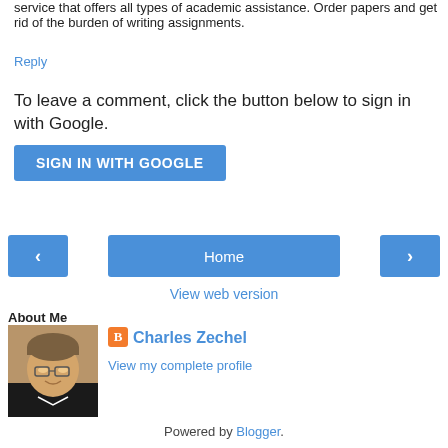service that offers all types of academic assistance. Order papers and get rid of the burden of writing assignments.
Reply
To leave a comment, click the button below to sign in with Google.
[Figure (other): Blue button labeled SIGN IN WITH GOOGLE]
[Figure (other): Navigation bar with left arrow button, Home button, and right arrow button]
View web version
About Me
[Figure (photo): Profile photo of Charles Zechel, a man with glasses and gray-brown hair wearing a dark jacket]
Charles Zechel
View my complete profile
Powered by Blogger.